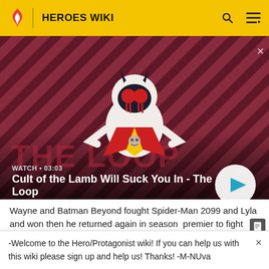HEROES WIKI
[Figure (screenshot): Video thumbnail for 'Cult of the Lamb Will Suck You In - The Loop' showing a cartoon lamb character in dark red and pink diagonal stripe background with play button overlay. WATCH • 03:03]
Wayne and Batman Beyond fought Spider-Man 2099 and Lyla and won then he returned again in season premiere to fight against Black Panther and lost the
-Welcome to the Hero/Protagonist wiki! If you can help us with this wiki please sign up and help us! Thanks! -M-NUva